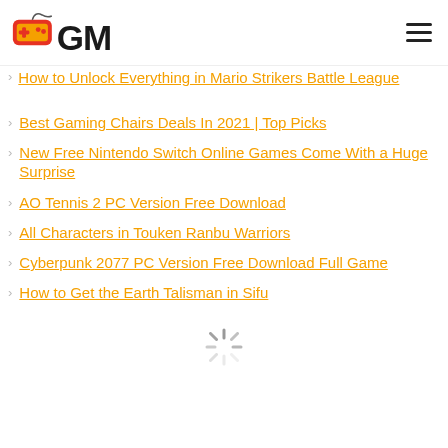GM - Gaming site logo and navigation
How to Unlock Everything in Mario Strikers Battle League
Best Gaming Chairs Deals In 2021 | Top Picks
New Free Nintendo Switch Online Games Come With a Huge Surprise
AO Tennis 2 PC Version Free Download
All Characters in Touken Ranbu Warriors
Cyberpunk 2077 PC Version Free Download Full Game
How to Get the Earth Talisman in Sifu
[Figure (other): Loading spinner animation indicator]